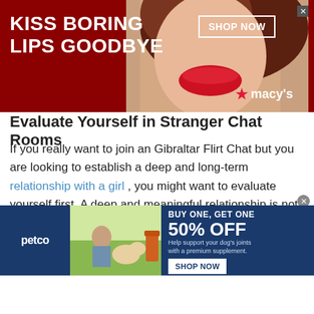[Figure (photo): Top advertisement banner: red background with woman's face/lips photo, text 'KISS BORING LIPS GOODBYE', 'SHOP NOW' button, Macy's logo with star]
Evaluate Yourself in Stranger Chat Rooms
If you really want to join an Gibraltar Flirt Chat but you are looking to establish a deep and long-term relationship with a girl , you might want to evaluate yourself first. A deep and meaningful relationship is not based on any physical aspect of the other person.
If you feel like people only speak to you because of your looks, then it is a good idea to chat with a random stranger to discover your strengths and find the real
[Figure (photo): Bottom Petco advertisement banner: dark blue background, person with dog and supplement product, text 'BUY ONE, GET ONE 50% OFF', 'Help support your dog's joints with a premium supplement.', 'SHOP NOW' button]